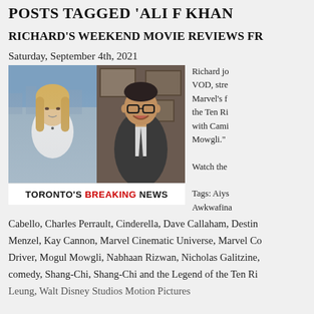POSTS TAGGED 'ALI F KHAN'
RICHARD'S WEEKEND MOVIE REVIEWS FR
Saturday, September 4th, 2021
[Figure (photo): Two-person split screen video thumbnail showing a blonde woman on the left and a man with glasses in a suit on the right, with 'TORONTO'S BREAKING NEWS' caption bar below]
Richard jo VOD, stre Marvel's f the Ten Ri with Cami Mowgli."
Watch the
Tags: Aiys Awkwafina Cabello, Charles Perrault, Cinderella, Dave Callaham, Destin Menzel, Kay Cannon, Marvel Cinematic Universe, Marvel Co Driver, Mogul Mowgli, Nabhaan Rizwan, Nicholas Galitzine, comedy, Shang-Chi, Shang-Chi and the Legend of the Ten Ri Leung, Walt Disney Studios Motion Pictures